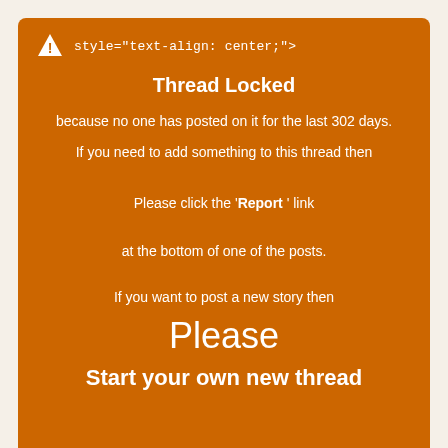style="text-align: center;">
Thread Locked
because no one has posted on it for the last 302 days.
If you need to add something to this thread then
Please click the "Report" link
at the bottom of one of the posts.
If you want to post a new story then
Please
Start your own new thread